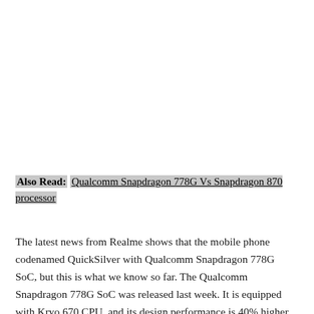Also Read: Qualcomm Snapdragon 778G Vs Snapdragon 870 processor
The latest news from Realme shows that the mobile phone codenamed QuickSilver with Qualcomm Snapdragon 778G SoC, but this is what we know so far. The Qualcomm Snapdragon 778G SoC was released last week. It is equipped with Kryo 670 CPU, and its design performance is 40% higher than the Kryo 475 CPU provided in